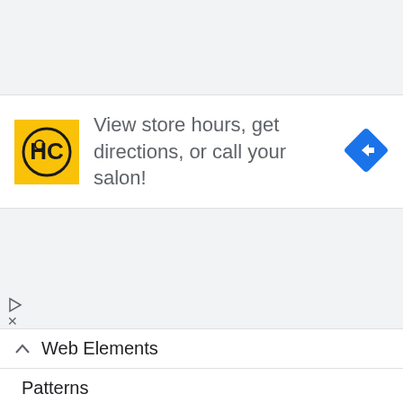[Figure (infographic): Ad banner: HC salon logo (yellow square with HC monogram), text 'View store hours, get directions, or call your salon!', blue diamond navigation arrow icon on the right.]
[Figure (infographic): Small play/triangle icon and X close button for ad controls]
Web Elements
Patterns
3D